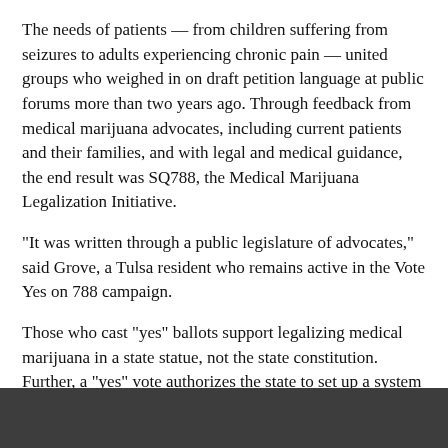The needs of patients — from children suffering from seizures to adults experiencing chronic pain — united groups who weighed in on draft petition language at public forums more than two years ago. Through feedback from medical marijuana advocates, including current patients and their families, and with legal and medical guidance, the end result was SQ788, the Medical Marijuana Legalization Initiative.
“It was written through a public legislature of advocates,” said Grove, a Tulsa resident who remains active in the Vote Yes on 788 campaign.
Those who cast “yes” ballots support legalizing medical marijuana in a state statue, not the state constitution. Further, a “yes” vote authorizes the state to set up a system to tax and regulate the use of medical marijuana. A “no” vote is against the measure.
Unlike some states with medical marijuana programs, SQ788 places no restrictions on conditions under which marijuana can be prescribed. The petition’s authors wanted to give physicians